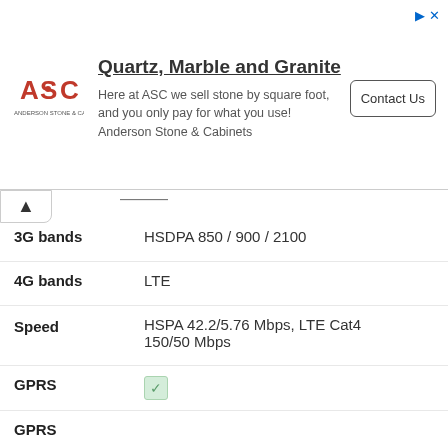[Figure (advertisement): ASC Anderson Stone & Cabinets ad banner with logo, title 'Quartz, Marble and Granite', body text, and Contact Us button]
3G bands: HSDPA 850 / 900 / 2100
4G bands: LTE
Speed: HSPA 42.2/5.76 Mbps, LTE Cat4 150/50 Mbps
GPRS: ✓
GPRS
Platform
OS: Android 10 (Go edition), HIOS 6.0
Chipset: Mediatek